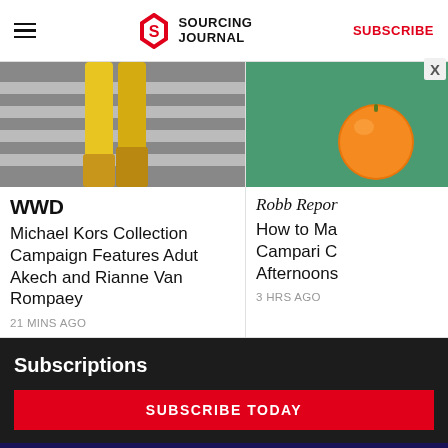SOURCING JOURNAL | SUBSCRIBE
[Figure (photo): Photo of a model wearing bright yellow wide-leg trousers walking on a street crosswalk — WWD article image]
[Figure (photo): Cropped photo showing an orange fruit on a green surface — Robb Report article image]
WWD
Michael Kors Collection Campaign Features Adut Akech and Rianne Van Rompaey
21 MINS AGO
Robb Report
How to Ma Campari C Afternoons
3 HRS AGO
Subscriptions
SUBSCRIBE TODAY
[Figure (advertisement): Thermore and EVO down advertisement banner — orange Thermore logo with insulation experts since 1972, green recycling logo, EVO down fully recycled text on dark blue background]